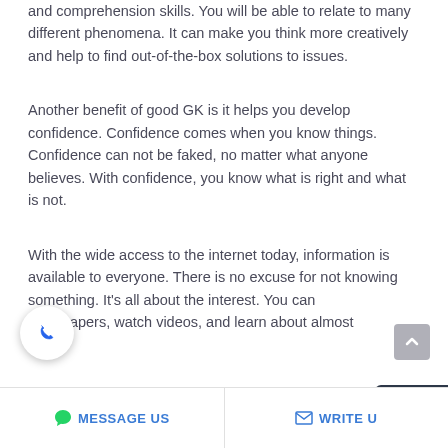and comprehension skills. You will be able to relate to many different phenomena. It can make you think more creatively and help to find out-of-the-box solutions to issues.
Another benefit of good GK is it helps you develop confidence. Confidence comes when you know things. Confidence can not be faked, no matter what anyone believes. With confidence, you know what is right and what is not.
With the wide access to the internet today, information is available to everyone. There is no excuse for not knowing something. It's all about the interest. You can read newspapers, watch videos, and learn about almost...
MESSAGE US   WRITE US   Chat